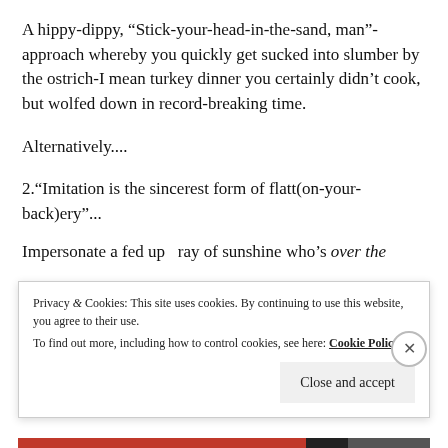A hippy-dippy, “Stick-your-head-in-the-sand, man”-approach whereby you quickly get sucked into slumber by the ostrich-I mean turkey dinner you certainly didn’t cook, but wolfed down in record-breaking time.
Alternatively....
2.“Imitation is the sincerest form of flatt(on-your-back)ery”...
Impersonate a fed up  ray of sunshine who’s over the
Privacy & Cookies: This site uses cookies. By continuing to use this website, you agree to their use.
To find out more, including how to control cookies, see here: Cookie Policy
Close and accept